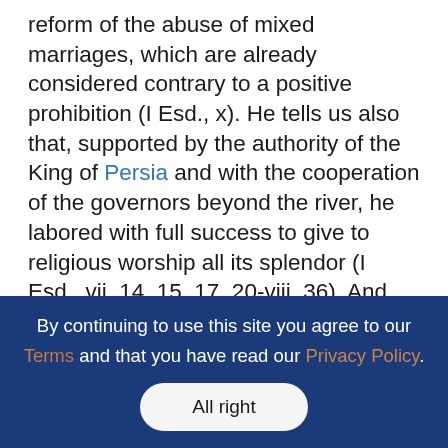reform of the abuse of mixed marriages, which are already considered contrary to a positive prohibition (I Esd., x). He tells us also that, supported by the authority of the King of Persia and with the cooperation of the governors beyond the river, he labored with full success to give to religious worship all its splendor (I Esd., vii, 14, 15, 17, 20-viii, 36). And nothing whatever justifies the belief that the work of Esdras had but an ephemeral success, for in that case he would not in his own memoirs have related it with so much emphasis without one word of regret for the failure of his effort. Can data such as these be reconciled with the supposition that the state of affairs described by Malachias was the immediate
By continuing to use this site you agree to our Terms and that you have read our Privacy Policy. All right